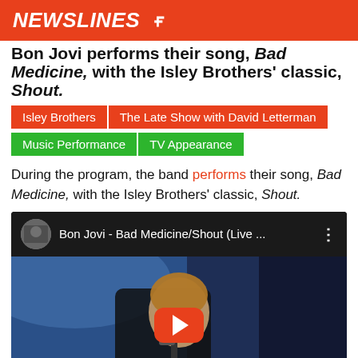NEWSLINES
Bon Jovi performs their song, Bad Medicine, with the Isley Brothers' classic, Shout.
Isley Brothers
The Late Show with David Letterman
Music Performance
TV Appearance
During the program, the band performs their song, Bad Medicine, with the Isley Brothers' classic, Shout.
[Figure (screenshot): YouTube video embed showing Bon Jovi - Bad Medicine/Shout (Live ...) with a thumbnail of a performer holding a microphone on stage]